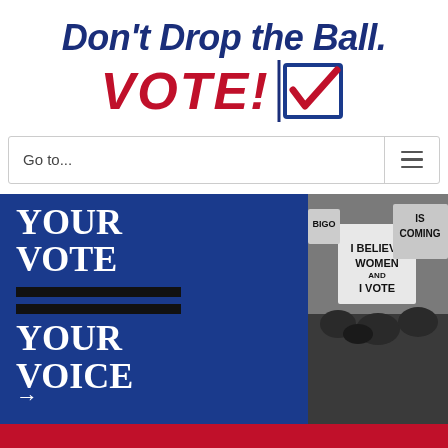[Figure (logo): Don't Drop the Ball. VOTE! logo with blue italic text and red VOTE! text with a blue checkbox containing a red checkmark]
Go to...
[Figure (photo): Black and white photo of protesters holding signs including 'I Believe Women and I Vote', 'BIGOT', 'IS COMING', overlaid on blue background with white text 'YOUR VOTE = YOUR VOICE' and arrow]